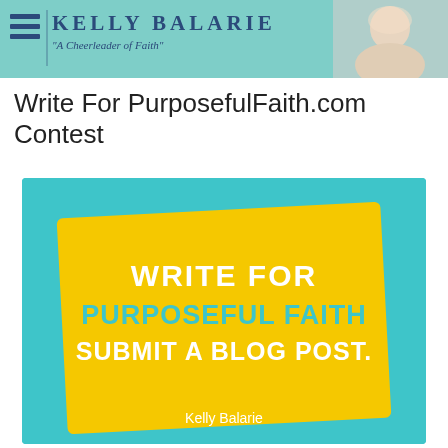KELLY BALARIE — "A Cheerleader of Faith"
Write For PurposefulFaith.com Contest
[Figure (infographic): Promotional graphic with cyan/teal background and a tilted yellow card containing bold white and teal text: WRITE FOR / PURPOSEFUL FAITH / SUBMIT A BLOG POST., with 'Kelly Balarie' in white at the bottom.]